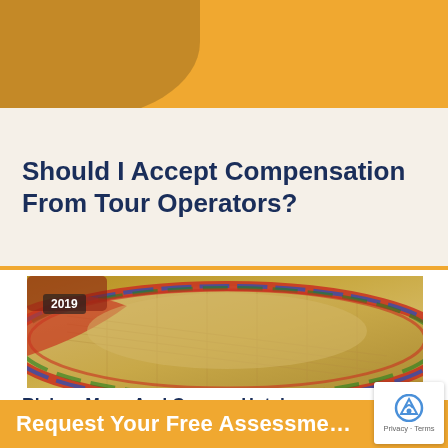[Figure (photo): Orange/gold decorative banner background at top of page]
Should I Accept Compensation From Tour Operators?
[Figure (photo): Close-up photo of a Mexican sombrero hat with colorful striped band on sandy ground, with a '2019' year badge in the upper left]
Riviera Maya And Cancun Hotel Guests Fall Ill With Cyclospora Fo…
Request Your Free Assessment